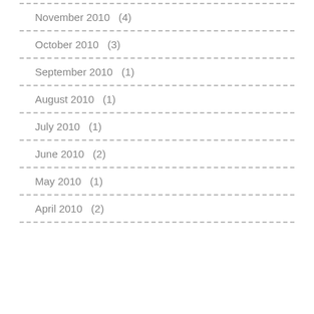November 2010 (4)
October 2010 (3)
September 2010 (1)
August 2010 (1)
July 2010 (1)
June 2010 (2)
May 2010 (1)
April 2010 (2)